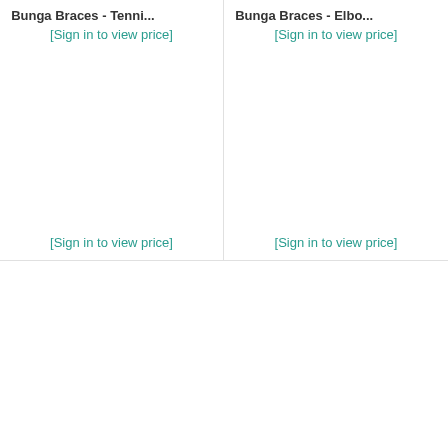Bunga Braces - Tenni...
Bunga Braces - Elbo...
[Sign in to view price]
[Sign in to view price]
[Figure (photo): Product image placeholder for Bunga Braces tennis item]
[Figure (photo): Product image placeholder for Bunga Braces elbow item]
[Sign in to view price]
[Sign in to view price]